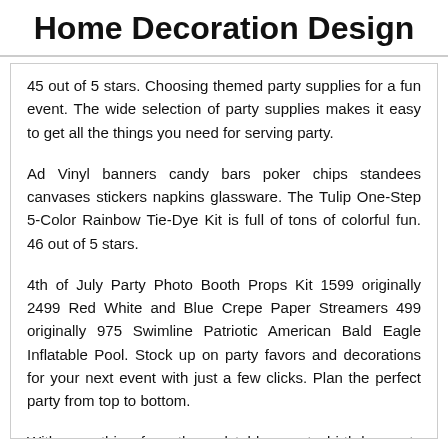Home Decoration Design
45 out of 5 stars. Choosing themed party supplies for a fun event. The wide selection of party supplies makes it easy to get all the things you need for serving party.
Ad Vinyl banners candy bars poker chips standees canvases stickers napkins glassware. The Tulip One-Step 5-Color Rainbow Tie-Dye Kit is full of tons of colorful fun. 46 out of 5 stars.
4th of July Party Photo Booth Props Kit 1599 originally 2499 Red White and Blue Crepe Paper Streamers 499 originally 975 Swimline Patriotic American Bald Eagle Inflatable Pool. Stock up on party favors and decorations for your next event with just a few clicks. Plan the perfect party from top to bottom.
With everything from themed tableware to birthday party decorations and everything in between like party favors